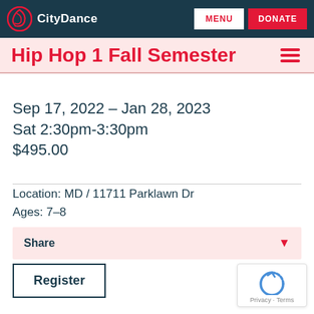CityDance  MENU  DONATE
Hip Hop 1 Fall Semester
Sep 17, 2022 – Jan 28, 2023
Sat 2:30pm-3:30pm
$495.00
Location: MD / 11711 Parklawn Dr
Ages: 7–8
Share
Register